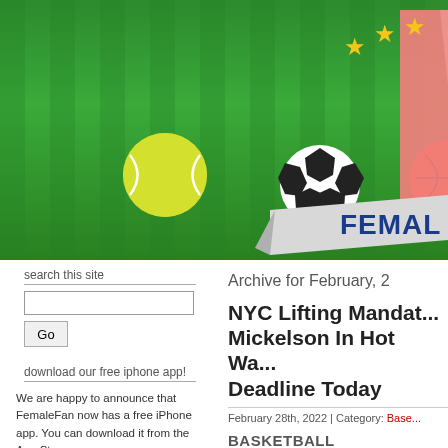[Figure (photo): Green grass background with a yellow tennis ball, a black and white soccer ball, and an orange basketball lying on the grass. On the right side, a pink shield/crest logo with gold stars and a banner reading 'FEMALE' in blue letters.]
search this site
Go
download our free iphone app!
We are happy to announce that FemaleFan now has a free iPhone app. You can download it from the App Store.
Archive for February, 2
NYC Lifting Mandat... Mickelson In Hot Wa... Deadline Today
February 28th, 2022 | Category: Base...
BASKETBALL